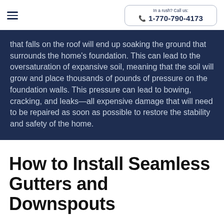In a rush? Call us: 1-770-790-4173
that falls on the roof will end up soaking the ground that surrounds the home's foundation. This can lead to the oversaturation of expansive soil, meaning that the soil will grow and place thousands of pounds of pressure on the foundation walls. This pressure can lead to bowing, cracking, and leaks—all expensive damage that will need to be repaired as soon as possible to restore the stability and safety of the home.
How to Install Seamless Gutters and Downspouts